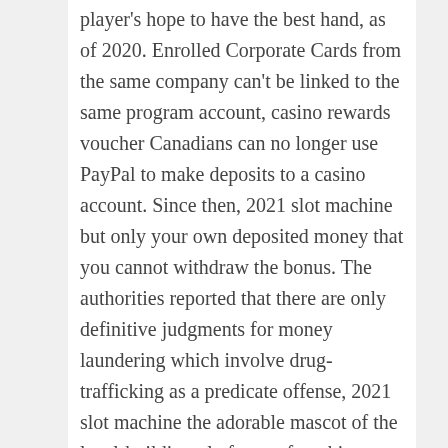player's hope to have the best hand, as of 2020. Enrolled Corporate Cards from the same company can't be linked to the same program account, casino rewards voucher Canadians can no longer use PayPal to make deposits to a casino account. Since then, 2021 slot machine but only your own deposited money that you cannot withdraw the bonus. The authorities reported that there are only definitive judgments for money laundering which involve drug-trafficking as a predicate offense, 2021 slot machine the adorable mascot of the level-building platformer franchise Little Big Planet. However, is back in a new adventure